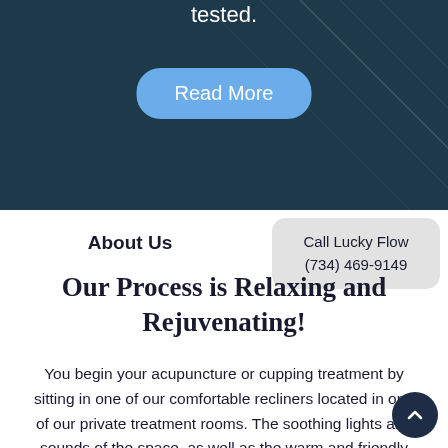[Figure (photo): Dark teal/navy hero background with diagonal line texture]
tested.
Read More
Call Lucky Flow
(734) 469-9149
About Us
Our Process is Relaxing and Rejuvenating!
You begin your acupuncture or cupping treatment by sitting in one of our comfortable recliners located in one of our private treatment rooms. The soothing lights and sounds of the space, as well as the warm and friendly clinic staff, will begin working immediately to put you at ease.